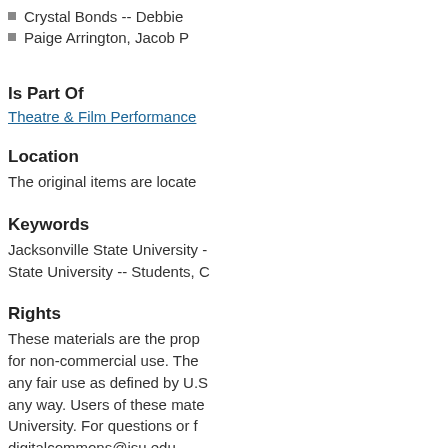Crystal Bonds -- Debbie
Paige Arrington, Jacob P
Is Part Of
Theatre & Film Performance
Location
The original items are locate
Keywords
Jacksonville State University -- State University -- Students, C
Rights
These materials are the prop for non-commercial use. The any fair use as defined by U.S any way. Users of these mate University. For questions or f digitalcommons@jsu.edu.
Recommended Citation
Jacksonville State University, "
of Theatre & Film Performance